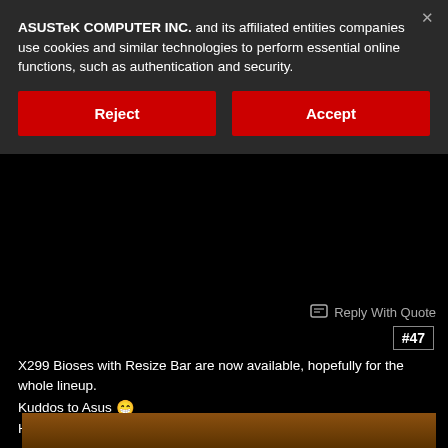ASUSTeK COMPUTER INC. and its affiliated entities companies use cookies and similar technologies to perform essential online functions, such as authentication and security.
Reject
Accept
Reply With Quote
#47
X299 Bioses with Resize Bar are now available, hopefully for the whole lineup.
Kuddos to Asus 😁
Here's a screenshot from my Tuf Mark1 bios
[Figure (screenshot): Partial screenshot of ASUS UEFI BIOS Utility - Advanced Mode, showing top bar and start of BIOS interface]